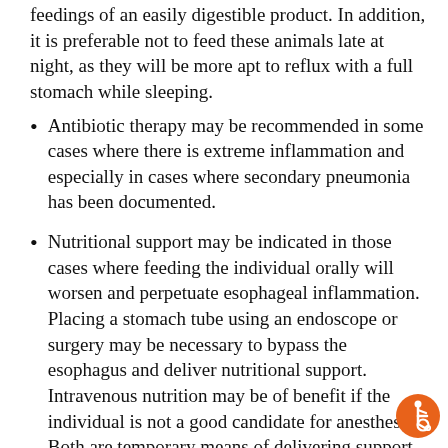feedings of an easily digestible product. In addition, it is preferable not to feed these animals late at night, as they will be more apt to reflux with a full stomach while sleeping.
Antibiotic therapy may be recommended in some cases where there is extreme inflammation and especially in cases where secondary pneumonia has been documented.
Nutritional support may be indicated in those cases where feeding the individual orally will worsen and perpetuate esophageal inflammation. Placing a stomach tube using an endoscope or surgery may be necessary to bypass the esophagus and deliver nutritional support. Intravenous nutrition may be of benefit if the individual is not a good candidate for anesthesia. Both are temporary means of delivering support until the esophagitis has resolved.
Endoscopic removal of a foreign body may be indicated in cases where a foreign body is present.